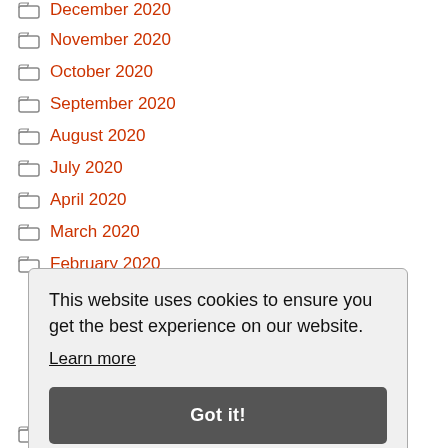December 2020
November 2020
October 2020
September 2020
August 2020
July 2020
April 2020
March 2020
February 2020
This website uses cookies to ensure you get the best experience on our website. Learn more
Bread